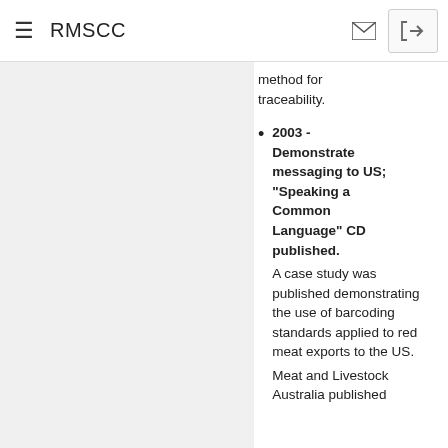RMSCC
method for traceability.
2003 - Demonstrate messaging to US; "Speaking a Common Language" CD published. A case study was published demonstrating the use of barcoding standards applied to red meat exports to the US. Meat and Livestock Australia published